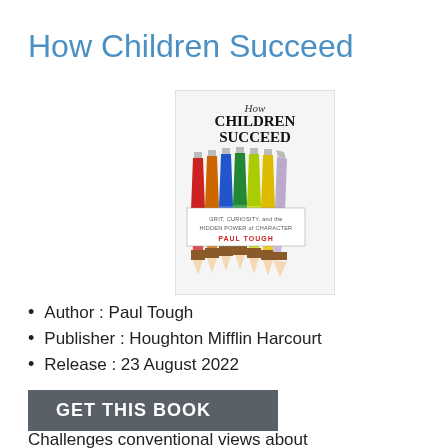How Children Succeed
[Figure (illustration): Book cover of 'How Children Succeed' by Paul Tough showing colored pencils arranged side by side with subtitle 'Grit, Curiosity, and the Hidden Power of Character' published by Houghton Mifflin Harcourt]
Author : Paul Tough
Publisher : Houghton Mifflin Harcourt
Release : 23 August 2022
GET THIS BOOK
Challenges conventional views about